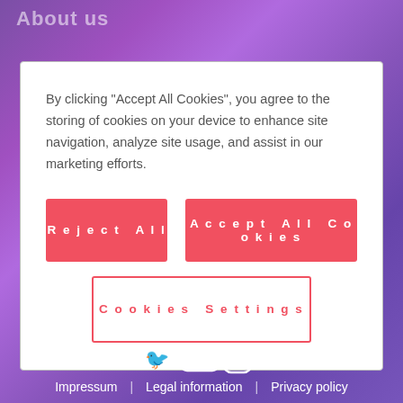About us
By clicking “Accept All Cookies”, you agree to the storing of cookies on your device to enhance site navigation, analyze site usage, and assist in our marketing efforts.
Reject All
Accept All Cookies
Cookies Settings
[Figure (infographic): Social media icons: LinkedIn, Facebook, Twitter, YouTube, Instagram, Xing]
Impressum | Legal information | Privacy policy